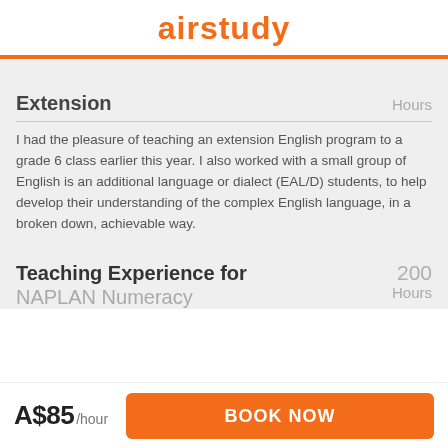airstudy
Extension
Hours
I had the pleasure of teaching an extension English program to a grade 6 class earlier this year. I also worked with a small group of English is an additional language or dialect (EAL/D) students, to help develop their understanding of the complex English language, in a broken down, achievable way.
Teaching Experience for NAPLAN Numeracy
200 Hours
A$85 /hour
BOOK NOW